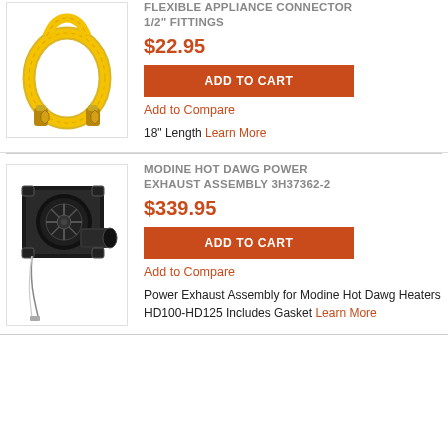[Figure (photo): Yellow flexible appliance connector hose with brass fittings forming a loop]
FLEXIBLE APPLIANCE CONNECTOR 1/2" FITTINGS
$22.95
ADD TO CART
Add to Compare
18" Length Learn More
[Figure (photo): Modine Hot Dawg Power Exhaust Assembly 3H37362-2 - black blower motor unit with wiring]
MODINE HOT DAWG POWER EXHAUST ASSEMBLY 3H37362-2
$339.95
ADD TO CART
Add to Compare
Power Exhaust Assembly for Modine Hot Dawg Heaters HD100-HD125 Includes Gasket Learn More